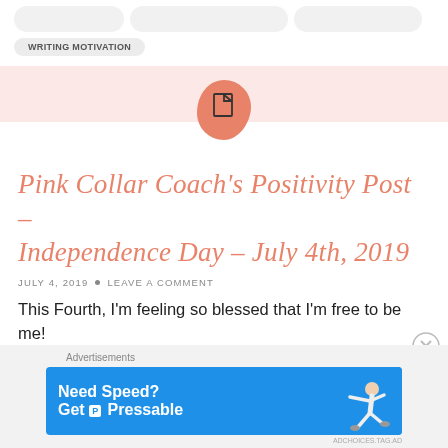WRITING MOTIVATION
[Figure (illustration): Orange/salmon teardrop-shaped icon with a document/page symbol in the center]
Pink Collar Coach's Positivity Post – Independence Day – July 4th, 2019
JULY 4, 2019 • LEAVE A COMMENT
This Fourth, I'm feeling so blessed that I'm free to be me!
Advertisements
[Figure (screenshot): Blue advertisement banner reading 'Need Speed? Get Pressable' with a figure of a person flying/running]